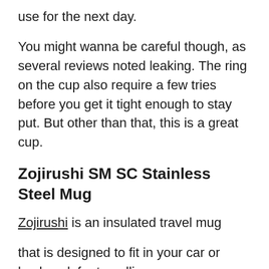use for the next day.
You might wanna be careful though, as several reviews noted leaking. The ring on the cup also require a few tries before you get it tight enough to stay put. But other than that, this is a great cup.
Zojirushi SM SC Stainless Steel Mug
Zojirushi is an insulated travel mug
that is designed to fit in your car or backpack for travelling.